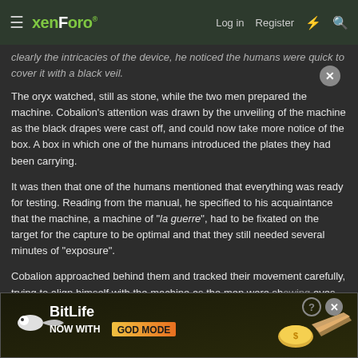xenForo | Log in | Register
clearly the intricacies of the device, he noticed the humans were quick to cover it with a black veil.
The oryx watched, still as stone, while the two men prepared the machine. Cobalion's attention was drawn by the unveiling of the machine as the black drapes were cast off, and could now take more notice of the box. A box in which one of the humans introduced the plates they had been carrying.
It was then that one of the humans mentioned that everything was ready for testing. Reading from the manual, he specified to his acquaintance that the machine, a machine of "la guerre", had to be fixated on the target for the capture to be optimal and that they still needed several minutes of "exposure".
Cobalion approached behind them and tracked their movement carefully, trying to align himself with the machine as the men were sh... eyes dilated a... kion's steps co...
[Figure (screenshot): BitLife advertisement banner with GOD MODE promotion and decorative hand/coin imagery]